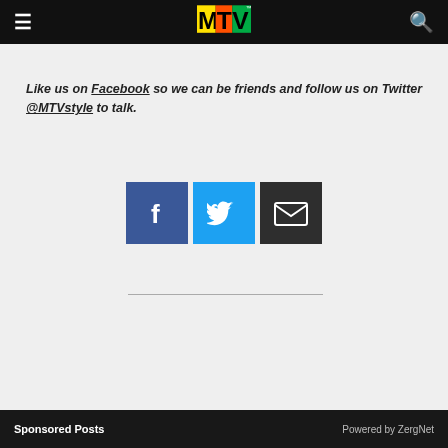MTV navigation bar with logo, menu, and search
Like us on Facebook so we can be friends and follow us on Twitter @MTVstyle to talk.
[Figure (infographic): Three social media sharing buttons: Facebook (blue, f icon), Twitter (light blue, bird icon), Email (dark, envelope icon)]
Sponsored Posts    Powered by ZergNet